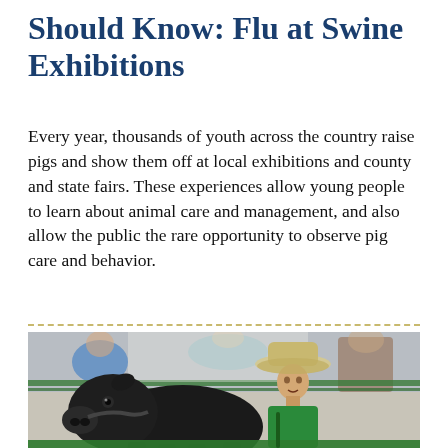Should Know: Flu at Swine Exhibitions
Every year, thousands of youth across the country raise pigs and show them off at local exhibitions and county and state fairs. These experiences allow young people to learn about animal care and management, and also allow the public the rare opportunity to observe pig care and behavior.
[Figure (photo): A young boy wearing a cowboy hat and green shirt guiding a large black pig at a swine exhibition or county fair, with blurred spectators and green metal fencing in the background.]